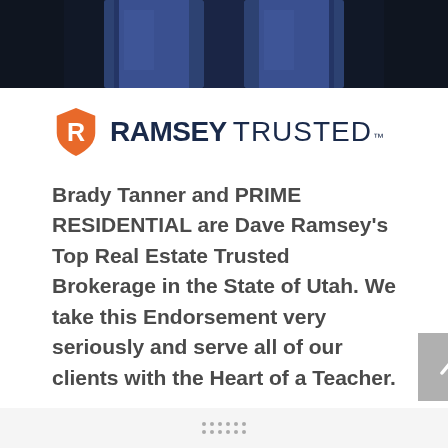[Figure (photo): Bottom portion of a person wearing dark blue jeans, cropped at waist/thigh level against a dark background]
[Figure (logo): Ramsey Trusted logo: orange shield with white R letter, followed by bold dark blue RAMSEY and regular weight TRUSTED text with trademark symbol]
Brady Tanner and PRIME RESIDENTIAL are Dave Ramsey's Top Real Estate Trusted Brokerage in the State of Utah. We take this Endorsement very seriously and serve all of our clients with the Heart of a Teacher.